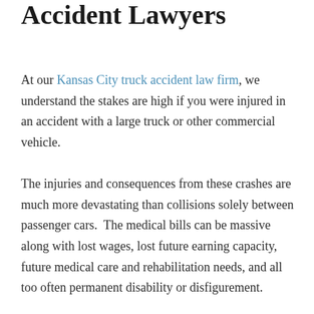Accident Lawyers
At our Kansas City truck accident law firm, we understand the stakes are high if you were injured in an accident with a large truck or other commercial vehicle.
The injuries and consequences from these crashes are much more devastating than collisions solely between passenger cars.  The medical bills can be massive along with lost wages, lost future earning capacity, future medical care and rehabilitation needs, and all too often permanent disability or disfigurement.